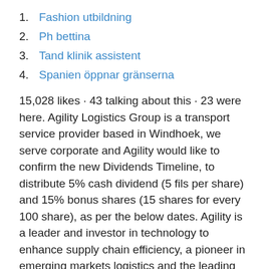1. Fashion utbildning
2. Ph bettina
3. Tand klinik assistent
4. Spanien öppnar gränserna
15,028 likes · 43 talking about this · 23 were here. Agility Logistics Group is a transport service provider based in Windhoek, we serve corporate and Agility would like to confirm the new Dividends Timeline, to distribute 5% cash dividend (5 fils per share) and 15% bonus shares (15 shares for every 100 share), as per the below dates. Agility is a leader and investor in technology to enhance supply chain efficiency, a pioneer in emerging markets logistics and the leading provider of digital trade...